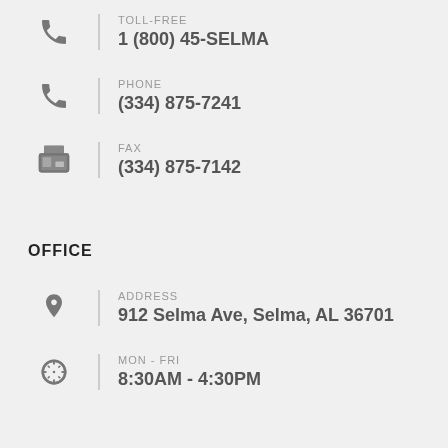TOLL-FREE
1 (800) 45-SELMA
PHONE
(334) 875-7241
FAX
(334) 875-7142
OFFICE
ADDRESS
912 Selma Ave, Selma, AL 36701
MON - FRI
8:30AM - 4:30PM